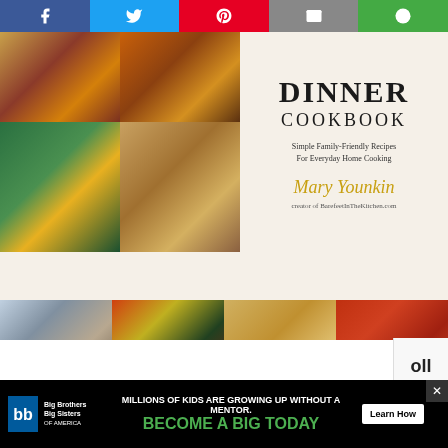[Figure (other): Social share bar with Facebook, Twitter, Pinterest, Email, and Google+ buttons]
[Figure (photo): Cookbook cover: 'DINNER COOKBOOK - Simple Family-Friendly Recipes For Everyday Home Cooking' by Mary Younkin, creator of BarefeetInTheKitchen.com, with a grid of food photos showing pasta, chicken, salad, baked potato, a dessert bar, stir fry, rolls, and tomatoes]
oll
o p
[Figure (photo): Partial advertisement banner: Big Brothers Big Sisters - MILLIONS OF KIDS ARE GROWING UP WITHOUT A MENTOR. BECOME A BIG TODAY - Learn How]
ww°